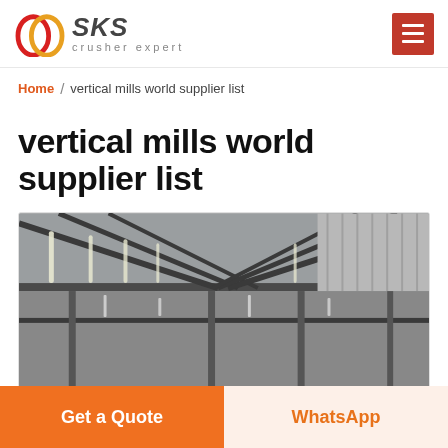SKS crusher expert
Home / vertical mills world supplier list
vertical mills world supplier list
[Figure (photo): Interior of a large industrial factory building showing steel structural framework, roof trusses, and fluorescent lighting strips along the ceiling.]
Get a Quote
WhatsApp